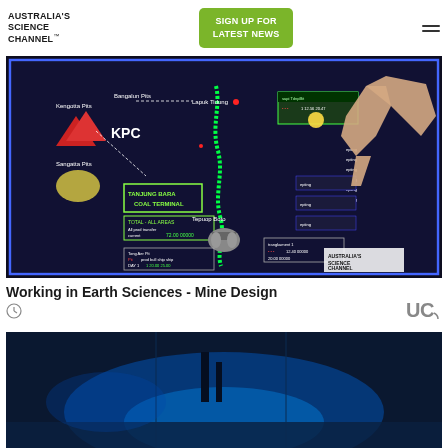[Figure (logo): Australia's Science Channel logo with trademark symbol]
[Figure (other): Green sign up for latest news button]
[Figure (screenshot): Screen showing KPC mine design software with green winding conveyor path, Tanjung Bara Coal Terminal label, Sangatta Pits, Kargaita Pits, and various data overlays. A hand pointing at the screen. Australia's Science Channel watermark in corner.]
Working in Earth Sciences - Mine Design
[Figure (photo): Dark blue-toned image of what appears to be an underground or industrial setting with blue lighting]